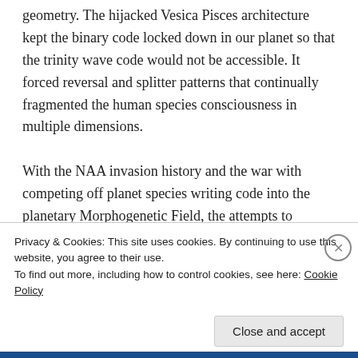geometry. The hijacked Vesica Pisces architecture kept the binary code locked down in our planet so that the trinity wave code would not be accessible. It forced reversal and splitter patterns that continually fragmented the human species consciousness in multiple dimensions.

With the NAA invasion history and the war with competing off planet species writing code into the planetary Morphogenetic Field, the attempts to
Privacy & Cookies: This site uses cookies. By continuing to use this website, you agree to their use.
To find out more, including how to control cookies, see here: Cookie Policy
Close and accept